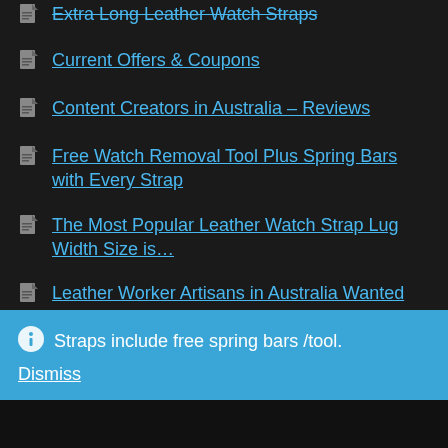Extra Long Leather Watch Straps
Current Offers & Coupons
Content Creators in Australia – Reviews
Free Watch Removal Tool Plus Spring Bars with Every Strap
The Most Popular Leather Watch Strap Lug Width Size is…
Leather Worker Artisans in Australia Wanted
Different Types of Leather Used for Watch Straps
Straps include free spring bars /tool.
Dismiss